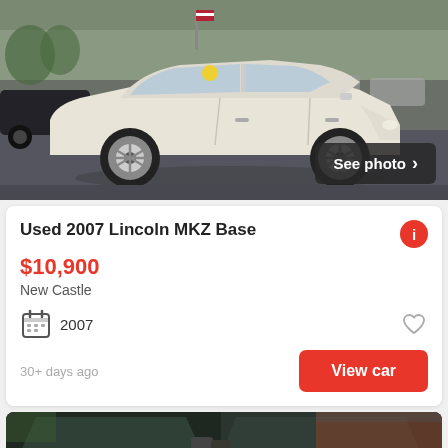[Figure (photo): Used white/pearl Lincoln MKZ Base sedan photographed at a car dealership lot with other vehicles visible in background. American flag visible. Yellow sticker on windshield.]
Used 2007 Lincoln MKZ Base
$10,900
New Castle
2007
30+ days ago
View car
[Figure (photo): Partial view of a dark truck or van at a car dealership, showing windshield, hood, and side mirrors.]